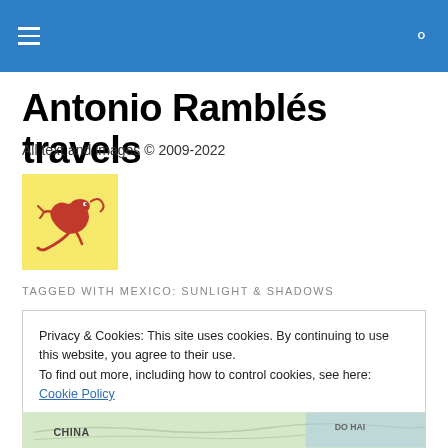Antonio Ramblés travels — site navigation header
Antonio Ramblés travels
All text and images © 2009-2022
[Figure (logo): Yellow background logo with red decorative lizard/salamander illustration]
TAGGED WITH MEXICO: SUNLIGHT & SHADOWS
Privacy & Cookies: This site uses cookies. By continuing to use this website, you agree to their use.
To find out more, including how to control cookies, see here: Cookie Policy
Close and accept
[Figure (map): Partial map showing CHINA label]